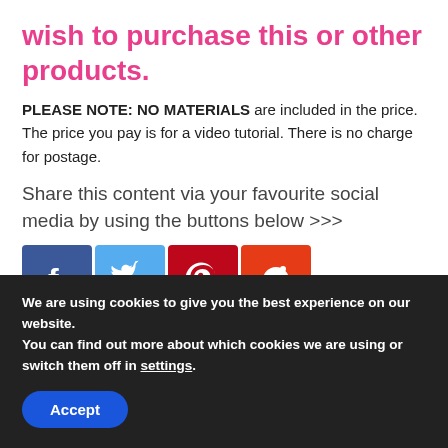wish to purchase this or other products.
PLEASE NOTE: NO MATERIALS are included in the price. The price you pay is for a video tutorial. There is no charge for postage.
Share this content via your favourite social media by using the buttons below >>>
[Figure (other): Four social media share buttons: Facebook (blue), Twitter (light blue), Pinterest (red), Reddit (orange-red)]
We are using cookies to give you the best experience on our website.
You can find out more about which cookies we are using or switch them off in settings.
Accept